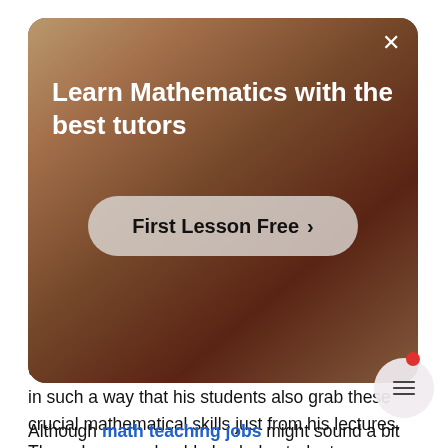[Figure (photo): Modal overlay card with photo background of a person teaching mathematics, with title 'Learn Mathematics with the best tutors' and a 'First Lesson Free >' call-to-action button, and an X close button in the top right corner.]
tutor of mathematics needs to prepare his lectures in such a way that his students also grab these crucial mathematical skills just from his lectures. These lessons should also help students understand the uses of mathematics in practical life and how they affect certain phenomena around us.
Although math teaching jobs might sound a bit